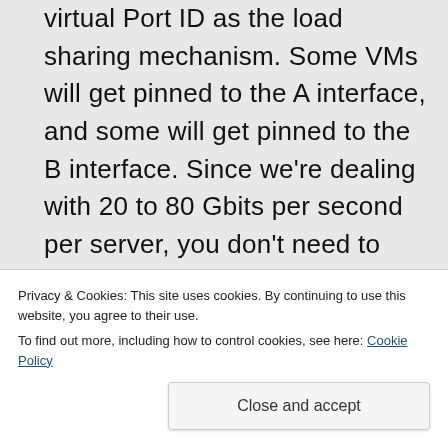virtual Port ID as the load sharing mechanism. Some VMs will get pinned to the A interface, and some will get pinned to the B interface. Since we're dealing with 20 to 80 Gbits per second per server, you don't need to spread load across multiple links for scaling. For redundancy, VMware does a great job of handling link failure
Privacy & Cookies: This site uses cookies. By continuing to use this website, you agree to their use. To find out more, including how to control cookies, see here: Cookie Policy